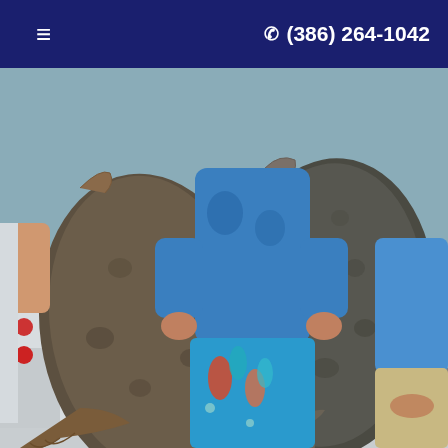≡   ☎ (386) 264-1042
[Figure (photo): Two people on a boat holding up two large flounder fish. One person is wearing a blue tropical print shirt and colorful surf-themed shorts. The other person is wearing a long-sleeve blue shirt and khaki pants. The fish are flat and dark brown-grey in color, typical flounder species.]